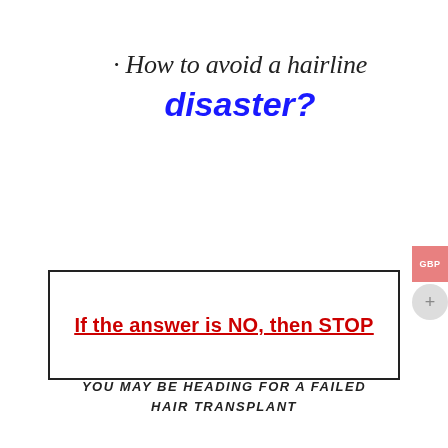· How to avoid a hairline disaster?
If the answer is NO, then STOP
YOU MAY BE HEADING FOR A FAILED HAIR TRANSPLANT